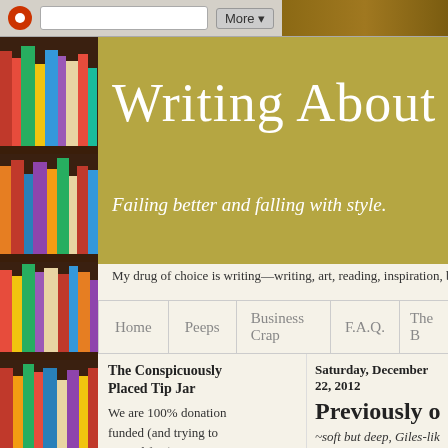Blogger browser chrome with search bar and More button
[Figure (screenshot): Bookshelf with colorful books on the left side]
Writing About Writ...
Failing better and falling with style.
My drug of choice is writing—writing, art, reading, inspiration, b...
Home | Peeps | Business Crap | F.A.Q. | The B...
The Conspicuously Placed Tip Jar
We are 100% donation funded (and trying to stay ad free), so even the smallest amount of
Saturday, December 22, 2012
Previously on Writ...
~soft but deep, Giles-like voi...